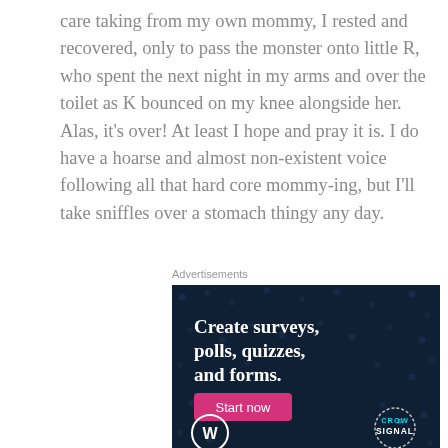care taking from my own mommy, I rested and recovered, only to pass the monster onto little R, who spent the next night in my arms and over the toilet as K bounced on my knee alongside her. Alas, it's over! At least I hope and pray it is. I do have a hoarse and almost non-existent voice following all that hard core mommy-ing, but I'll take sniffles over a stomach thingy any day.
Advertisements
[Figure (infographic): CrowdSignal advertisement on dark navy background with dots pattern. Text reads 'Create surveys, polls, quizzes, and forms.' with a pink 'Start now' button, WordPress logo bottom left, and CrowdSignal circular logo bottom right.]